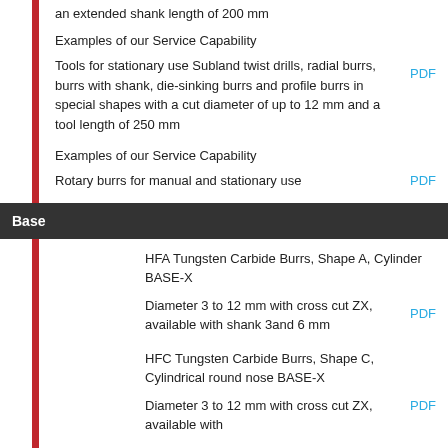an extended shank length of 200 mm
Examples of our Service Capability
Tools for stationary use Subland twist drills, radial burrs, burrs with shank, die-sinking burrs and profile burrs in special shapes with a cut diameter of up to 12 mm and a tool length of 250 mm
Examples of our Service Capability
Rotary burrs for manual and stationary use
Base
HFA Tungsten Carbide Burrs, Shape A, Cylinder BASE-X
Diameter 3 to 12 mm with cross cut ZX, available with shank 3and 6 mm
HFC Tungsten Carbide Burrs, Shape C, Cylindrical round nose BASE-X
Diameter 3 to 12 mm with cross cut ZX, available with